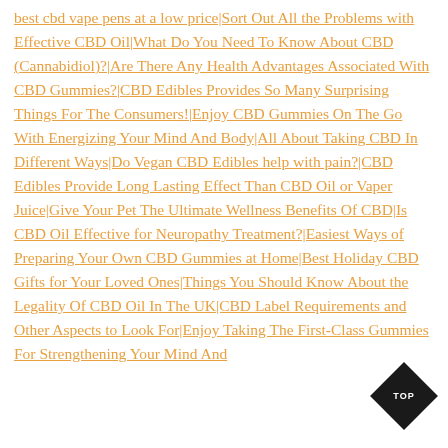best cbd vape pens at a low price|Sort Out All the Problems with Effective CBD Oil|What Do You Need To Know About CBD (Cannabidiol)?|Are There Any Health Advantages Associated With CBD Gummies?|CBD Edibles Provides So Many Surprising Things For The Consumers!|Enjoy CBD Gummies On The Go With Energizing Your Mind And Body|All About Taking CBD In Different Ways|Do Vegan CBD Edibles help with pain?|CBD Edibles Provide Long Lasting Effect Than CBD Oil or Vaper Juice|Give Your Pet The Ultimate Wellness Benefits Of CBD|Is CBD Oil Effective for Neuropathy Treatment?|Easiest Ways of Preparing Your Own CBD Gummies at Home|Best Holiday CBD Gifts for Your Loved Ones|Things You Should Know About the Legality Of CBD Oil In The UK|CBD Label Requirements and Other Aspects to Look For|Enjoy Taking The First-Class Gummies For Strengthening Your Mind And
[Figure (other): Black diamond-shaped TOP button in bottom right corner]